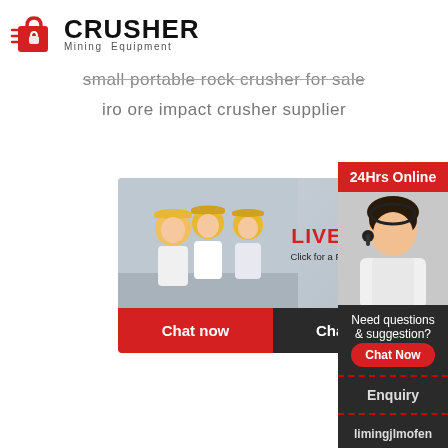[Figure (logo): Crusher Mining Equipment logo with red shopping bag icon and bold CRUSHER text]
small portable rock crusher for sale
iro ore impact crusher supplier
[Figure (other): Live Chat popup with workers in hard hats, LIVE CHAT heading, Click for a Free Consultation text, Chat now and Chat later buttons]
[Figure (other): Sidebar with 24Hrs Online label, agent photo, Need questions & suggestion? text, Chat Now button, Enquiry section, limingjlmofen@sina.com email]